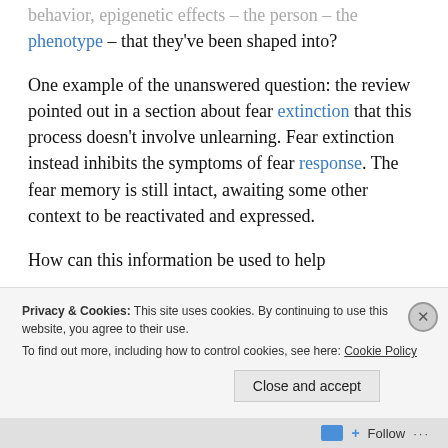behavior, epigenetic effects – the person – the phenotype – that they've been shaped into?
One example of the unanswered question: the review pointed out in a section about fear extinction that this process doesn't involve unlearning. Fear extinction instead inhibits the symptoms of fear response. The fear memory is still intact, awaiting some other context to be reactivated and expressed.
How can this information be used to help
Privacy & Cookies: This site uses cookies. By continuing to use this website, you agree to their use.
To find out more, including how to control cookies, see here: Cookie Policy
Follow ...